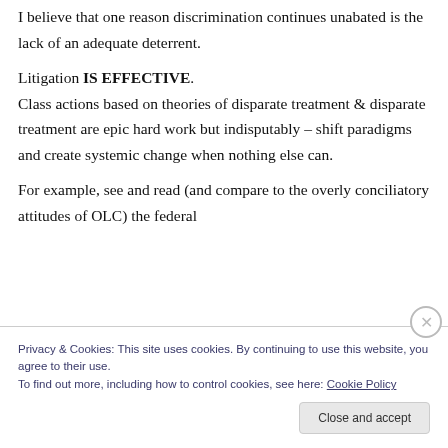I believe that one reason discrimination continues unabated is the lack of an adequate deterrent.
Litigation IS EFFECTIVE. Class actions based on theories of disparate treatment & disparate treatment are epic hard work but indisputably – shift paradigms and create systemic change when nothing else can.
For example, see and read (and compare to the overly conciliatory attitudes of OLC) the federal
Privacy & Cookies: This site uses cookies. By continuing to use this website, you agree to their use. To find out more, including how to control cookies, see here: Cookie Policy
Close and accept